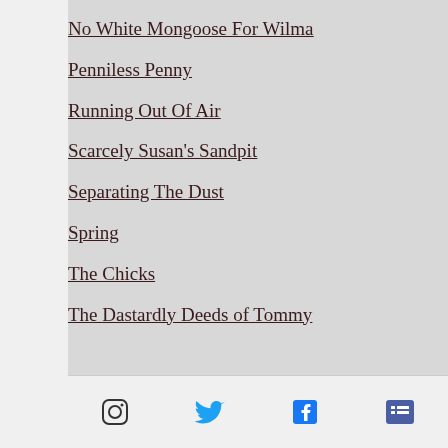No White Mongoose For Wilma
Penniless Penny
Running Out Of Air
Scarcely Susan's Sandpit
Separating The Dust
Spring
The Chicks
The Dastardly Deeds of Tommy
[Instagram] [Twitter] [Facebook] [List icon]